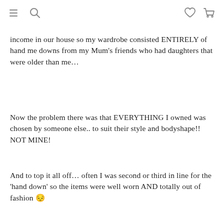Navigation icons: menu, search, wishlist, cart
income in our house so my wardrobe consisted ENTIRELY of hand me downs from my Mum's friends who had daughters that were older than me...
Now the problem there was that EVERYTHING I owned was chosen by someone else.. to suit their style and bodyshape!! NOT MINE!
And to top it all off... often I was second or third in line for the 'hand down' so the items were well worn AND totally out of fashion 😔